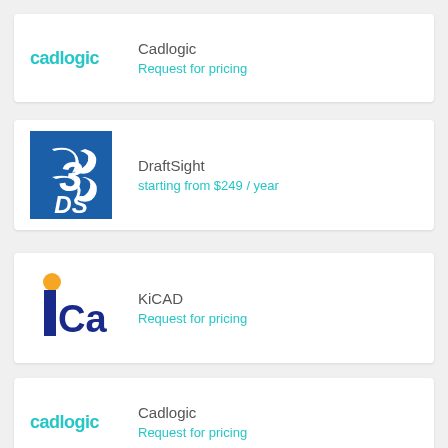[Figure (logo): Cadlogic text logo in teal/cyan color]
Cadlogic
Request for pricing
[Figure (logo): DraftSight DS logo on blue background]
DraftSight
starting from $249 / year
[Figure (logo): KiCAD logo with orange dot and dark blue letters]
KiCAD
Request for pricing
[Figure (logo): Cadlogic text logo in teal/cyan color]
Cadlogic
Request for pricing